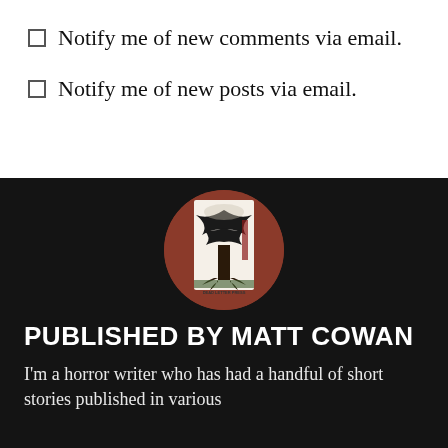Notify me of new comments via email.
Notify me of new posts via email.
[Figure (photo): Circular avatar image showing a book cover with a gothic tree illustration, published by Dead Letter Press, displayed on a dark background.]
PUBLISHED BY MATT COWAN
I'm a horror writer who has had a handful of short stories published in various